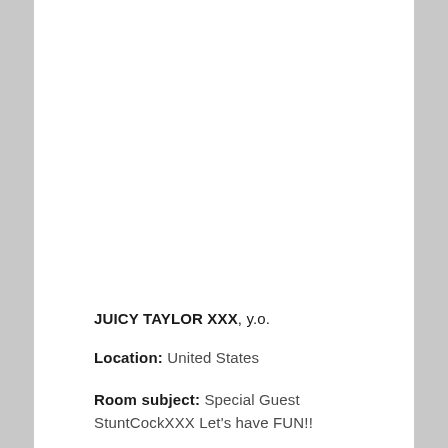JUICY TAYLOR XXX, y.o.
Location: United States
Room subject: Special Guest StuntCockXXX Let's have FUN!!